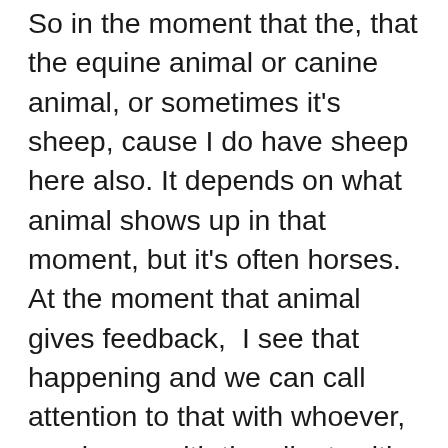So in the moment that the, that the equine animal or canine animal, or sometimes it's sheep, cause I do have sheep here also. It depends on what animal shows up in that moment, but it's often horses. At the moment that animal gives feedback,  I see that happening and we can call attention to that with whoever, you know, with the client, with whoever's around in that moment. And what we want to do at that point is to go inward and notice, what did you, where did you abandon that part of yourself? Because getting other people to trust us is a really hard sell if we're not actually connected to our core self or to our own trust system, but human animals are the only mammals that follow unstable leadership. And so we're wandering around following people that don't even trust themselves. And so part of the